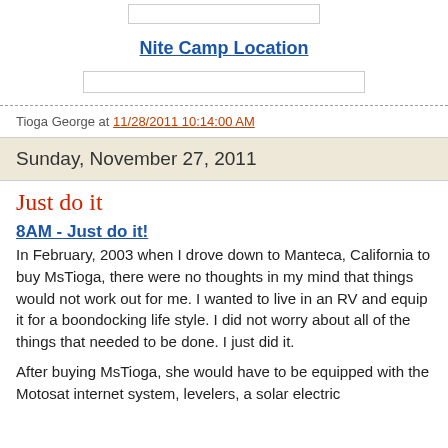[Figure (other): Small map input box at top center]
Nite Camp Location
[Figure (other): Wide map input/search box below the link]
Tioga George at 11/28/2011 10:14:00 AM
Sunday, November 27, 2011
Just do it
8AM - Just do it!
In February, 2003 when I drove down to Manteca, California to buy MsTioga, there were no thoughts in my mind that things would not work out for me. I wanted to live in an RV and equip it for a boondocking life style. I did not worry about all of the things that needed to be done. I just did it.
After buying MsTioga, she would have to be equipped with the Motosat internet system, levelers, a solar electric